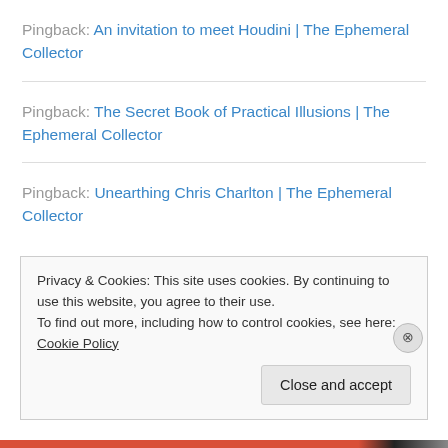Pingback: An invitation to meet Houdini | The Ephemeral Collector
Pingback: The Secret Book of Practical Illusions | The Ephemeral Collector
Pingback: Unearthing Chris Charlton | The Ephemeral Collector
Privacy & Cookies: This site uses cookies. By continuing to use this website, you agree to their use.
To find out more, including how to control cookies, see here: Cookie Policy